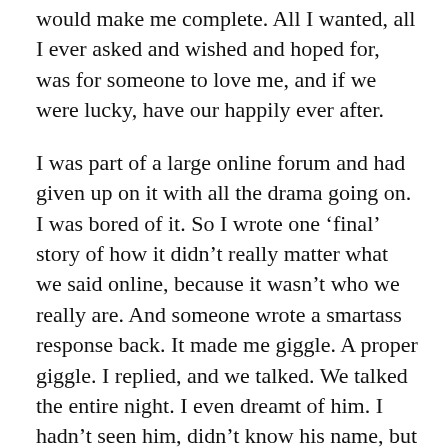would make me complete. All I wanted, all I ever asked and wished and hoped for, was for someone to love me, and if we were lucky, have our happily ever after.
I was part of a large online forum and had given up on it with all the drama going on. I was bored of it. So I wrote one ‘final’ story of how it didn’t really matter what we said online, because it wasn’t who we really are. And someone wrote a smartass response back. It made me giggle. A proper giggle. I replied, and we talked. We talked the entire night. I even dreamt of him. I hadn’t seen him, didn’t know his name, but I had a dream of being wrapped in his arms and feeling safe, warm and